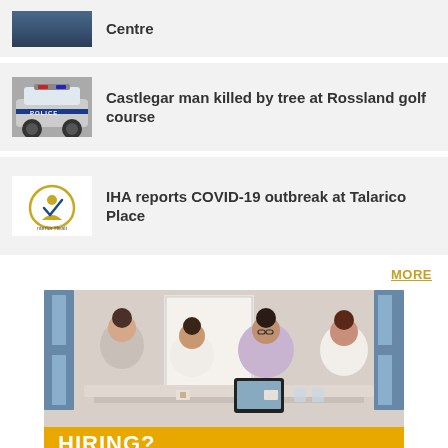Centre
Castlegar man killed by tree at Rossland golf course
IHA reports COVID-19 outbreak at Talarico Place
MORE
[Figure (photo): Advertisement banner showing four people in a business meeting around a table with a tablet, with a yellow bar at the bottom reading 'HIRING? Secure talent, get advice...']